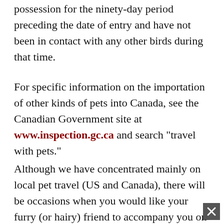possession for the ninety-day period preceding the date of entry and have not been in contact with any other birds during that time.
For specific information on the importation of other kinds of pets into Canada, see the Canadian Government site at www.inspection.gc.ca and search "travel with pets."
Although we have concentrated mainly on local pet travel (US and Canada), there will be occasions when you would like your furry (or hairy) friend to accompany you on a trip further a field.